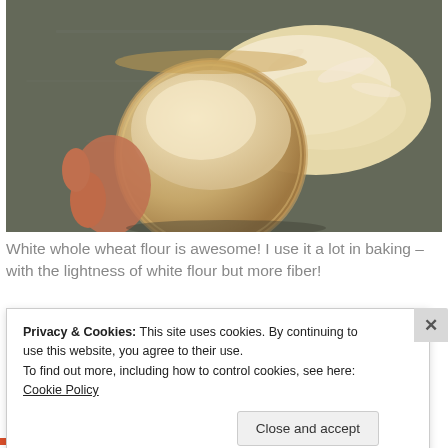[Figure (photo): A measuring cup filled with white whole wheat flour, with flour spilled on a dark surface beside it. A hand is partially visible holding the cup.]
White whole wheat flour is awesome! I use it a lot in baking – with the lightness of white flour but more fiber!
Privacy & Cookies: This site uses cookies. By continuing to use this website, you agree to their use.
To find out more, including how to control cookies, see here: Cookie Policy